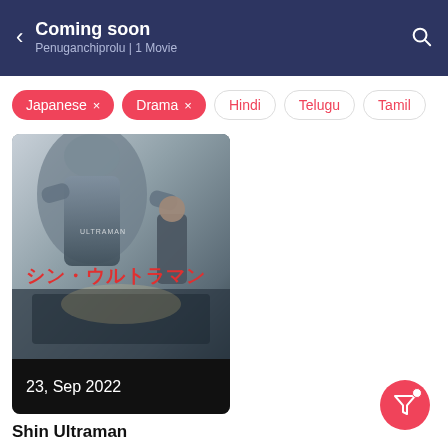Coming soon
Penuganchiprolu | 1 Movie
Japanese ×
Drama ×
Hindi
Telugu
Tamil
[Figure (photo): Movie poster for Shin Ultraman showing Japanese title シン・ウルトラマン in red text, large silhouette figure, crowd scene, and cityscape with a person in a suit. Date bar shows '23, Sep 2022'.]
Shin Ultraman
Action/Adventure/Drama
102 likes